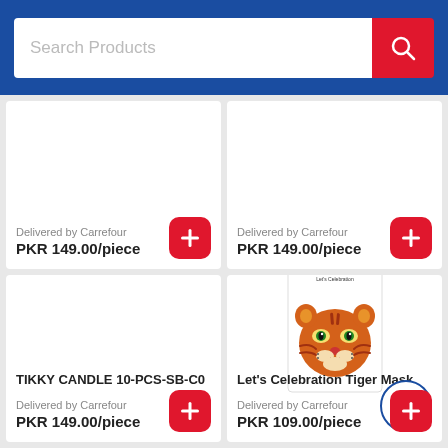Search Products
Delivered by Carrefour
PKR 149.00/piece
Delivered by Carrefour
PKR 149.00/piece
TIKKY CANDLE 10-PCS-SB-C0
Delivered by Carrefour
PKR 149.00/piece
Let's Celebration Tiger Mask
Delivered by Carrefour
PKR 109.00/piece